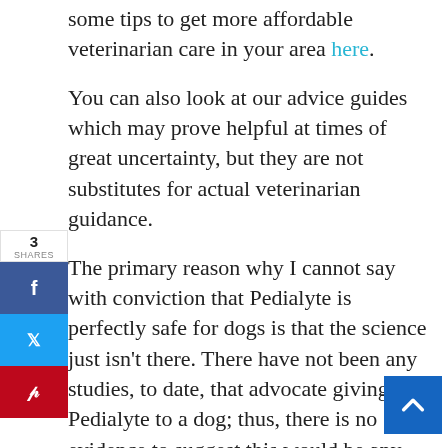some tips to get more affordable veterinarian care in your area here.
You can also look at our advice guides which may prove helpful at times of great uncertainty, but they are not substitutes for actual veterinarian guidance.
The primary reason why I cannot say with conviction that Pedialyte is perfectly safe for dogs is that the science just isn't there. There have not been any studies, to date, that advocate giving Pedialyte to a dog; thus, there is no evidence to suggest this would be any more beneficial to treat dehydration than regular water.